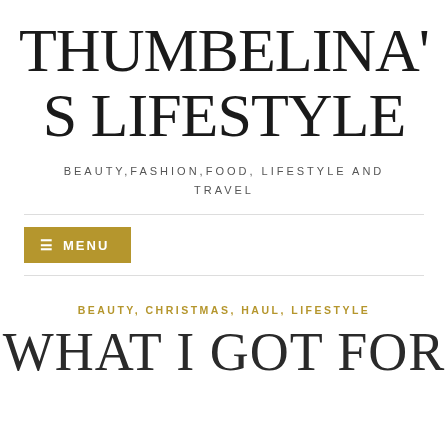THUMBELINA'S LIFESTYLE
BEAUTY,FASHION,FOOD, LIFESTYLE AND TRAVEL
≡ MENU
BEAUTY, CHRISTMAS, HAUL, LIFESTYLE
WHAT I GOT FOR